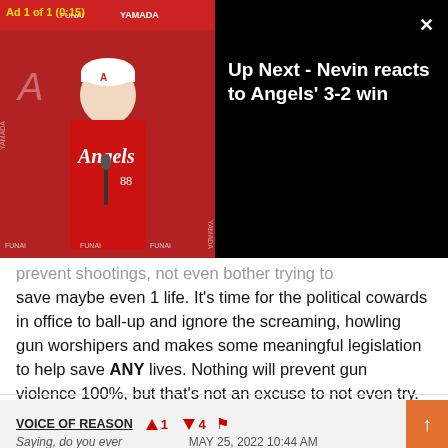[Figure (screenshot): Video player overlay showing an Angels baseball press conference thumbnail on the left with a man in Angels red uniform and cap, and 'Up Next - Nevin reacts to Angels' 3-2 win' text on the right against black background. Ad label '1 of 1 (0:15)' visible in top left.]
prevent shootings, not even bother trying to save maybe even 1 life. It's time for the political cowards in office to ball-up and ignore the screaming, howling gun worshipers and makes some meaningful legislation to help save ANY lives. Nothing will prevent gun violence 100%, but that's not an excuse to not even try. Enough is enough.
You're either OK with this or you support sensible gun laws.
VOICE OF REASON  ▲1  ▼4  🚩
Saying, do you ever  MAY 25, 2022 10:44 AM